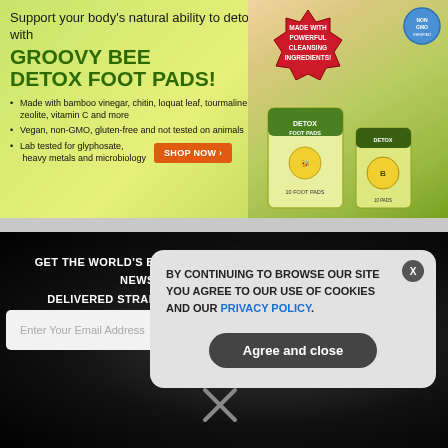[Figure (infographic): Groovy Bee Detox Foot Pads advertisement banner with green/yellow background, product images, badges, and bullet points about ingredients.]
Support your body's natural ability to detox with GROOVY BEE DETOX FOOT PADS!
Made with bamboo vinegar, chitin, loquat leaf, tourmaline, zeolite, vitamin C and more
Vegan, non-GMO, gluten-free and not tested on animals
Lab tested for glyphosate, heavy metals and microbiology
GET THE WORLD'S BEST NATURAL HEALTH NEWSLETTER DELIVERED STRAIGHT TO YOUR INBOX
BY CONTINUING TO BROWSE OUR SITE YOU AGREE TO OUR USE OF COOKIES AND OUR PRIVACY POLICY.
Agree and close